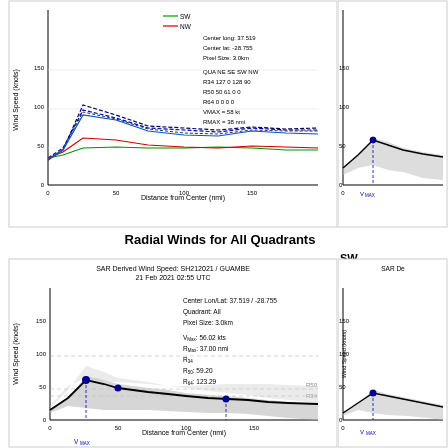[Figure (line-chart): Line chart showing radial wind speed vs distance from center for NE, SE, SW, NW quadrants with legend and storm parameters.]
[Figure (line-chart): Partial line chart showing wind speed vs distance from center, right panel.]
Radial Winds for All Quadrants
[Figure (continuous-plot): Line chart with grey scatter envelope showing radial wind speed vs distance for all quadrants combined. Center Lon/Lat: 37.519 / -28.755, Quadrant: All, Pixel Size: 3.0km, V_Max: 56.02 kts, R_Max: 37.00 nmi, R34, R50: 59.20, R64: 123.29]
[Figure (continuous-plot): Partial line chart showing SW quadrant wind speed vs distance from center.]